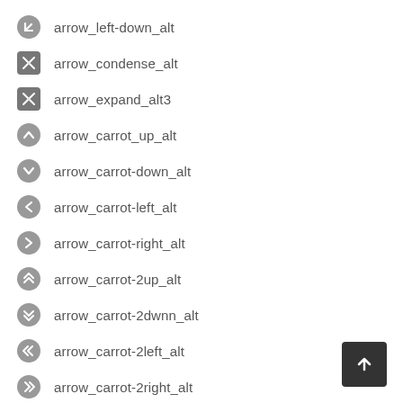arrow_left-down_alt
arrow_condense_alt
arrow_expand_alt3
arrow_carrot_up_alt
arrow_carrot-down_alt
arrow_carrot-left_alt
arrow_carrot-right_alt
arrow_carrot-2up_alt
arrow_carrot-2dwnn_alt
arrow_carrot-2left_alt
arrow_carrot-2right_alt
arrow_triangle-up_alt